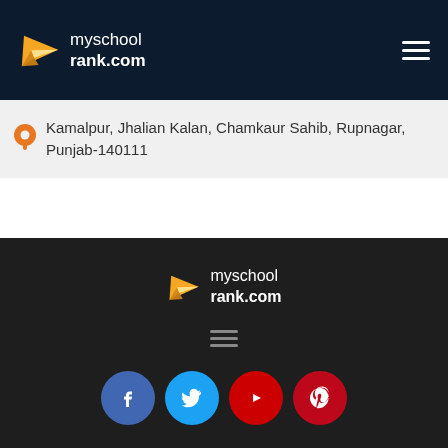[Figure (logo): myschoolrank.com logo with paper plane icon in header nav bar]
Kamalpur, Jhalian Kalan, Chamkaur Sahib, Rupnagar, Punjab-140111
[Figure (logo): myschoolrank.com logo with paper plane icon in footer]
[Figure (infographic): Hamburger menu icon (three horizontal lines) in footer]
[Figure (infographic): Social media icons: Facebook, Twitter, YouTube, Pinterest]